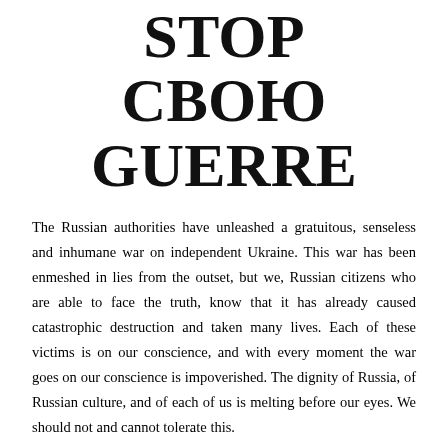STOP СВОЮ GUERRE
The Russian authorities have unleashed a gratuitous, senseless and inhumane war on independent Ukraine. This war has been enmeshed in lies from the outset, but we, Russian citizens who are able to face the truth, know that it has already caused catastrophic destruction and taken many lives. Each of these victims is on our conscience, and with every moment the war goes on our conscience is impoverished. The dignity of Russia, of Russian culture, and of each of us is melting before our eyes. We should not and cannot tolerate this.